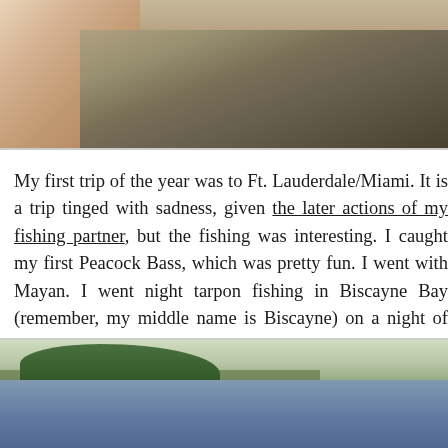[Figure (photo): Close-up photo of a hand holding a fish over murky/brown water background]
My first trip of the year was to Ft. Lauderdale/Miami. It is a trip tinged with sadness, given the later actions of my fishing partner, but the fishing was interesting. I caught my first Peacock Bass, which was pretty fun. I went with Mayan. I went night tarpon fishing in Biscayne Bay (remember, my middle name is Biscayne) on a night of high winds and low expectations. We didn't catch anything more than a single jack, but we did have tarpon rolling right below the bridge and it is something I really want to do again. I got to fish with someone as well, who showed me one of his spots.
[Figure (photo): Photo of a waterway or bay with palm trees and green shoreline in the background and water in the foreground]